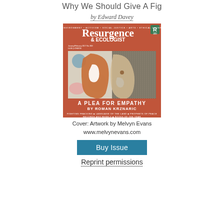Why We Should Give A Fig
by Edward Davey
[Figure (illustration): Cover of Resurgence & Ecologist magazine, issue 300. Features abstract artwork by Melvyn Evans showing a stylized face split into two halves on a terracotta/red background. Headline: A PLEA FOR EMPATHY BY ROMAN KRZNARIC. Subheadlines: FIGHTING FRACKING, LANGUAGE OF THE LAND, PROPHETS OF PEACE, RECORDS AND REBELS, BOOKS OF THE YEAR.]
Cover: Artwork by Melvyn Evans
www.melvynevans.com
Buy Issue
Reprint permissions